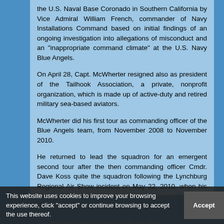the U.S. Naval Base Coronado in Southern California by Vice Admiral William French, commander of Navy Installations Command based on initial findings of an ongoing investigation into allegations of misconduct and an "inappropriate command climate" at the U.S. Navy Blue Angels.
On April 28, Capt. McWherter resigned also as president of the Tailhook Association, a private, nonprofit organization, which is made up of active-duty and retired military sea-based aviators.
McWherter did his first tour as commanding officer of the Blue Angels team, from November 2008 to November 2010.
He returned to lead the squadron for an emergent second tour after the then commanding officer Cmdr. Dave Koss quite the squadron following the Lynchburg Regional Air Show incident on May 22, 2010, when his flying almost crashed the team's diamond into the ground.
The incident then occurred, while the diamond formation executes the "Barrel Roll Break" maneuver
This website uses cookies to improve your browsing experience, click "accept" or continue browsing to accept the use thereof.